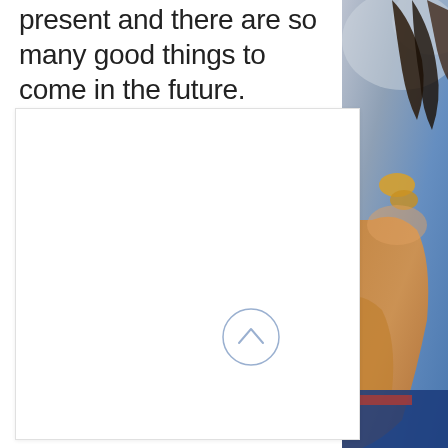present and there are so many good things to come in the future.
[Figure (photo): Partial view of a person (athlete or performer) with braided hair, wearing a gold/tan outfit, against a blurred blue and grey background. The image is cropped to the right edge of the page.]
[Figure (other): White rectangular box/panel with a light border, positioned in the center-left of the page. Contains a circular up-arrow (chevron) button in the lower-right area of the box.]